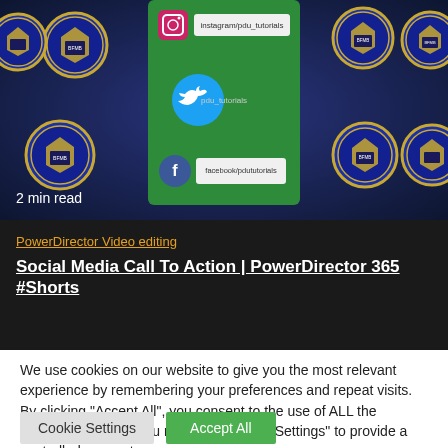[Figure (screenshot): A dark blue background with police/security badge logos arranged in a grid pattern. In the center is a green social media card showing Instagram, Twitter, and Facebook icons and handles. Text '2 min read' appears at bottom left.]
2 min read
PowerDirector Video editing
Social Media Call To Action | PowerDirector 365 #Shorts
We use cookies on our website to give you the most relevant experience by remembering your preferences and repeat visits. By clicking "Accept All", you consent to the use of ALL the cookies. However, you may visit "Cookie Settings" to provide a controlled consent.
Cookie Settings
Accept All